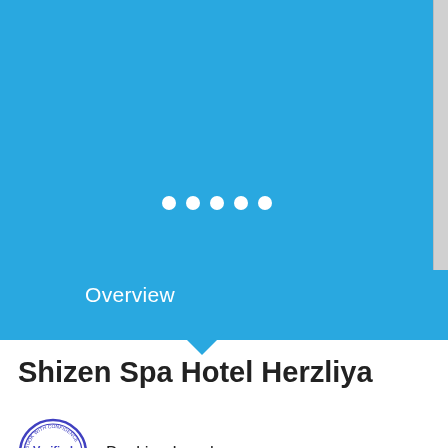[Figure (screenshot): Blue image carousel area with navigation dots and a right-side scrollbar strip]
Overview
Shizen Spa Hotel Herzliya
[Figure (logo): Circular 'Verified' stamp badge from Booking Israel in blue and white]
Booking Israel
SHIZEN SPA HOTEL HERZLIYA
The Shizen Spa Resort Herzliya is a unique, deluxe spa hotel facility infused with the tranquil, spiritual atmosphere of East Asia. The staff provides warm, friendly service of an intimate boutique hotel, complete with complimentary arrival cocktail.  The Shizen Spa Resort Herzliya includes both indoor and outdoor pools, wet and dry saunas,